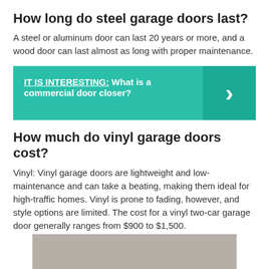How long do steel garage doors last?
A steel or aluminum door can last 20 years or more, and a wood door can last almost as long with proper maintenance.
[Figure (infographic): Teal callout box with text 'IT IS INTERESTING: What is a commercial door closer?' and a chevron arrow on the right side in a darker teal panel.]
How much do vinyl garage doors cost?
Vinyl: Vinyl garage doors are lightweight and low-maintenance and can take a beating, making them ideal for high-traffic homes. Vinyl is prone to fading, however, and style options are limited. The cost for a vinyl two-car garage door generally ranges from $900 to $1,500.
[Figure (photo): Gray rectangle representing a partially visible image at the bottom of the page.]